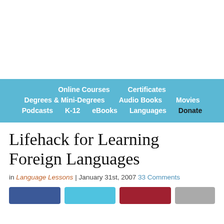Online Courses | Certificates | Degrees & Mini-Degrees | Audio Books | Movies | Podcasts | K-12 | eBooks | Languages | Donate
Lifehack for Learning Foreign Languages
in Language Lessons | January 31st, 2007  33 Comments